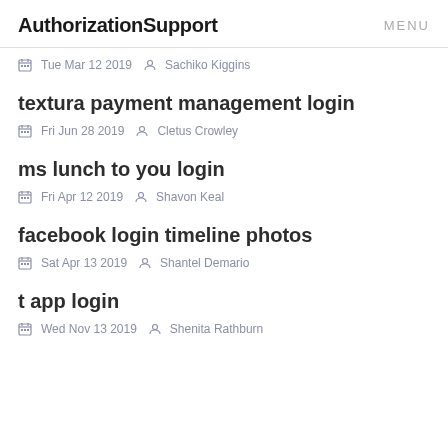AuthorizationSupport  MENU
Tue Mar 12 2019  Sachiko Kiggins
textura payment management login
Fri Jun 28 2019  Cletus Crowley
ms lunch to you login
Fri Apr 12 2019  Shavon Keal
facebook login timeline photos
Sat Apr 13 2019  Shantel Demario
t app login
Wed Nov 13 2019  Shenita Rathburn